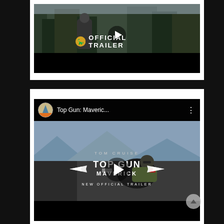[Figure (screenshot): Top portion of a YouTube-style video card showing a Jurassic World Dominion official trailer thumbnail with play button and 'OFFICIAL TRAILER' text overlay with dinosaur logo]
[Figure (screenshot): YouTube video card for Top Gun: Maverick New Official Trailer from Paramount Pictures channel, showing Tom Cruise on motorcycle, with channel avatar, title 'Top Gun: Maveric...' and play button overlay]